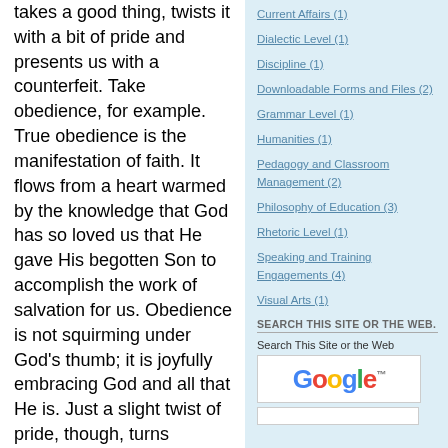takes a good thing, twists it with a bit of pride and presents us with a counterfeit. Take obedience, for example. True obedience is the manifestation of faith. It flows from a heart warmed by the knowledge that God has so loved us that He gave His begotten Son to accomplish the work of salvation for us. Obedience is not squirming under God's thumb; it is joyfully embracing God and all that He is. Just a slight twist of pride, though, turns obedience into legalism. Legalism flows, not from a heart that relishes the graciously-bestowed favor of
Current Affairs (1)
Dialectic Level (1)
Discipline (1)
Downloadable Forms and Files (2)
Grammar Level (1)
Humanities (1)
Pedagogy and Classroom Management (2)
Philosophy of Education (3)
Rhetoric Level (1)
Speaking and Training Engagements (4)
Visual Arts (1)
SEARCH THIS SITE OR THE WEB.
Search This Site or the Web
[Figure (logo): Google logo with trademark symbol]